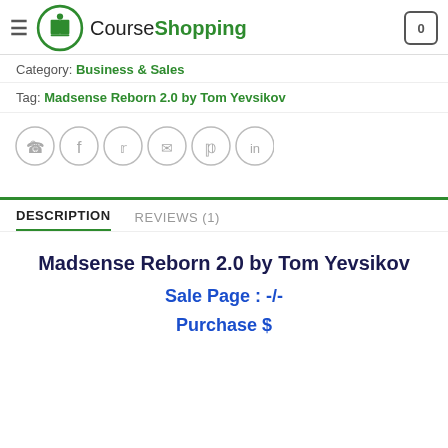CourseShopping
Category: Business & Sales
Tag: Madsense Reborn 2.0 by Tom Yevsikov
[Figure (other): Row of six social sharing icons: WhatsApp, Facebook, Twitter, Email, Pinterest, LinkedIn — each in a light grey circle]
DESCRIPTION
REVIEWS (1)
Madsense Reborn 2.0 by Tom Yevsikov
Sale Page : -/-
Purchase $